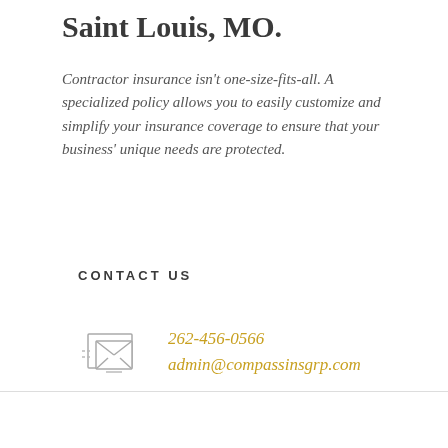Saint Louis, MO.
Contractor insurance isn't one-size-fits-all. A specialized policy allows you to easily customize and simplify your insurance coverage to ensure that your business' unique needs are protected.
CONTACT US
[Figure (illustration): Stylized icon of overlapping envelopes/mail symbols in gray outline style]
262-456-0566
admin@compassinsgrp.com